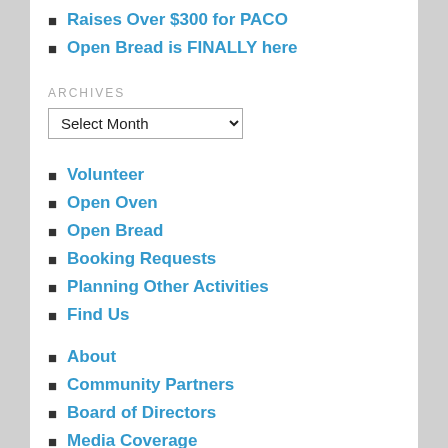Raises Over $300 for PACO
Open Bread is FINALLY here
ARCHIVES
Volunteer
Open Oven
Open Bread
Booking Requests
Planning Other Activities
Find Us
About
Community Partners
Board of Directors
Media Coverage
The Beginning
CONTACT